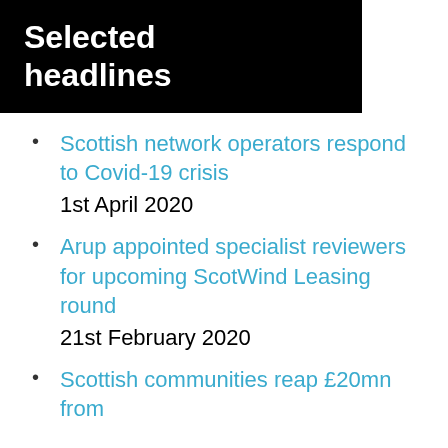Selected headlines
Scottish network operators respond to Covid-19 crisis
1st April 2020
Arup appointed specialist reviewers for upcoming ScotWind Leasing round
21st February 2020
Scottish communities reap £20mn from